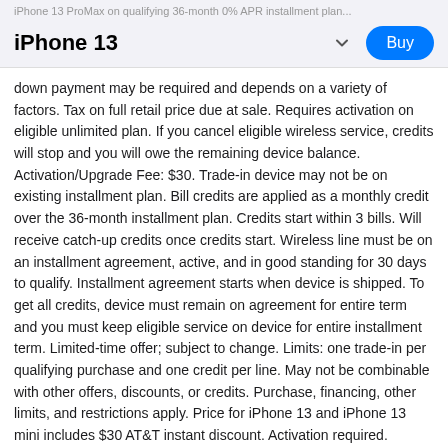iPhone 13  ∨  Buy
iPhone 13 ProMax on qualifying 36-month 0% APR installment plan...
down payment may be required and depends on a variety of factors. Tax on full retail price due at sale. Requires activation on eligible unlimited plan. If you cancel eligible wireless service, credits will stop and you will owe the remaining device balance. Activation/Upgrade Fee: $30. Trade-in device may not be on existing installment plan. Bill credits are applied as a monthly credit over the 36-month installment plan. Credits start within 3 bills. Will receive catch-up credits once credits start. Wireless line must be on an installment agreement, active, and in good standing for 30 days to qualify. Installment agreement starts when device is shipped. To get all credits, device must remain on agreement for entire term and you must keep eligible service on device for entire installment term. Limited-time offer; subject to change. Limits: one trade-in per qualifying purchase and one credit per line. May not be combinable with other offers, discounts, or credits. Purchase, financing, other limits, and restrictions apply. Price for iPhone 13 and iPhone 13 mini includes $30 AT&T instant discount. Activation required.
Sprint Special Deal: Sprint trade-in credit in the form of a rebate with virtual prepaid card when you trade in a qualifying device. Limited-time offer; subject to change. Requires activation on any Sprint data plan and submission of a promo code at promotions.t-mobile.com. $200 rebate via virtual prepaid Mastercard® Card, which you can use online or in-store via accepted mobile payment apps; no cash access & expires in 6 months from issuance. Card is issued by Sunrise Banks N.A., Member FDIC, pursuant to a license from Mastercard International Incorporated. Mastercard is a registered trademark of Mastercard International Incorporated. Use of this